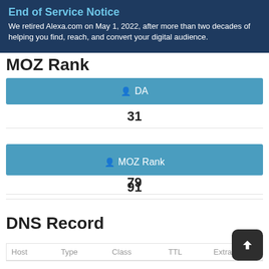[Figure (screenshot): Alexa.com End of Service Notice banner: 'End of Service Notice - We retired Alexa.com on May 1, 2022, after more than two decades of helping you find, reach, and convert your digital audience.']
MOZ Rank
| DA | 31 |
| PA | 79 |
| MOZ Rank | 91 |
DNS Record
| Host | Type | Class | TTL | Extra |
| --- | --- | --- | --- | --- |